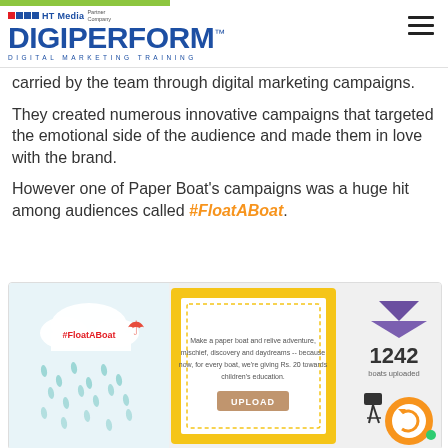HT Media Partner Company | DigiPerform™ | Digital Marketing Training
carried by the team through digital marketing campaigns.
They created numerous innovative campaigns that targeted the emotional side of the audience and made them in love with the brand.
However one of Paper Boat's campaigns was a huge hit among audiences called #FloatABoat.
[Figure (infographic): FloatABoat campaign infographic showing clouds with rain, #FloatABoat hashtag, a yellow framed upload prompt, paper boat with 1242 boats uploaded statistic, and a circular share icon]